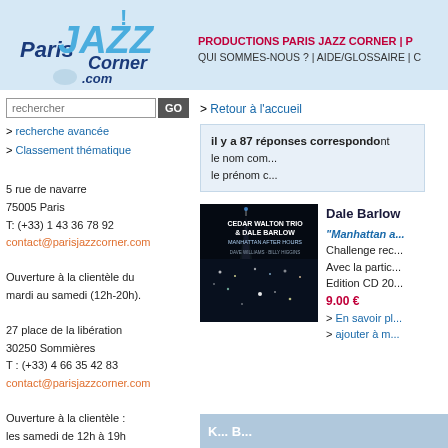[Figure (logo): Paris Jazz Corner .com logo with blue jazz lettering and exclamation mark]
PRODUCTIONS PARIS JAZZ CORNER | P... QUI SOMMES-NOUS ? | AIDE/GLOSSAIRE | C...
[Figure (screenshot): Search box with 'rechercher' placeholder text and GO button]
> recherche avancée
> Classement thématique
5 rue de navarre
75005 Paris
T: (+33) 1 43 36 78 92
contact@parisjazzcorner.com

Ouverture à la clientèle du mardi au samedi (12h-20h).

27 place de la libération
30250 Sommières
T : (+33) 4 66 35 42 83
contact@parisjazzcorner.com

Ouverture à la clientèle :
les samedi de 12h à 19h
> Retour à l'accueil
il y a 87 réponses correspondant à...
le nom com...
le prénom c...
Dale Barlow
[Figure (photo): Album cover: Cedar Walton Trio & Dale Barlow - Manhattan After Hours, dark night city scene]
"Manhattan a...
Challenge rec...
Avec la partic...
Edition CD 20...
9.00 €
> En savoir pl...
> ajouter à m...